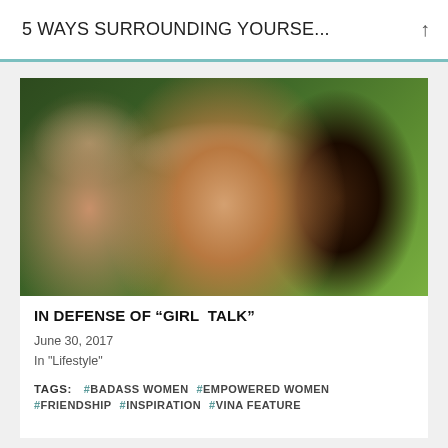5 WAYS SURROUNDING YOURSE...
[Figure (photo): Three women smiling outdoors with green foliage in background. Left woman has sunglasses and natural hair. Center woman wears white cat-eye sunglasses and white top. Right woman is laughing. Fourth person partially visible on right.]
IN DEFENSE OF “GIRL TALK”
June 30, 2017
In "Lifestyle"
TAGS: #BADASS WOMEN #EMPOWERED WOMEN #FRIENDSHIP #INSPIRATION #VINA FEATURE